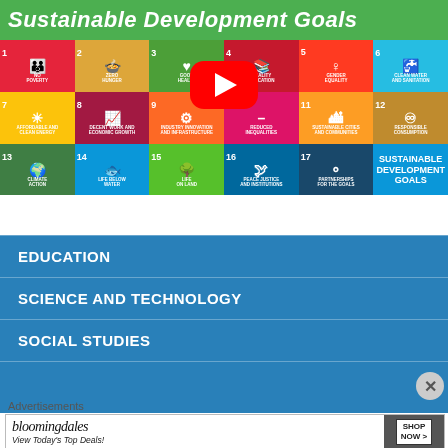[Figure (screenshot): UN Sustainable Development Goals promotional image with colorful SDG tiles (Goals 1-17) and a YouTube play button overlay. Green header reads 'Sustainable Development Goals'. Tile grid shows SDGs including No Poverty, Zero Hunger, Good Health, Gender Equality, Clean Water, Affordable Energy, Decent Work, Industry Innovation, Reduced Inequalities, Sustainable Cities, Responsible Consumption, Climate Action, Life Below Water, Life on Land, Peace Justice, Partnerships. Pink/purple background.]
EDUCATION
SCIENCE AND TECHNOLOGY
SOCIAL STUDIES
Advertisements
[Figure (screenshot): Bloomingdale's advertisement banner: 'bloomingdales View Today's Top Deals!' with SHOP NOW button and image of woman in wide-brim hat]